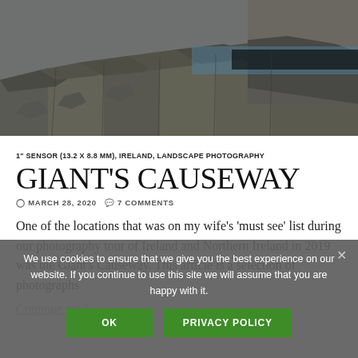[Figure (photo): Aerial/ground-level view of Giant's Causeway basalt rock columns with blue ocean water visible in the background]
1" SENSOR (13.2 X 8.8 MM), IRELAND, LANDSCAPE PHOTOGRAPHY
GIANT'S CAUSEWAY
MARCH 28, 2020   7 COMMENTS
One of the locations that was on my wife’s ‘must see’ list during our photography tour of Ireland and Northern Ireland in 2019 was the Giant’s Causeway. This article is a selection of photographs…
Continue reading
We use cookies to ensure that we give you the best experience on our website. If you continue to use this site we will assume that you are happy with it.